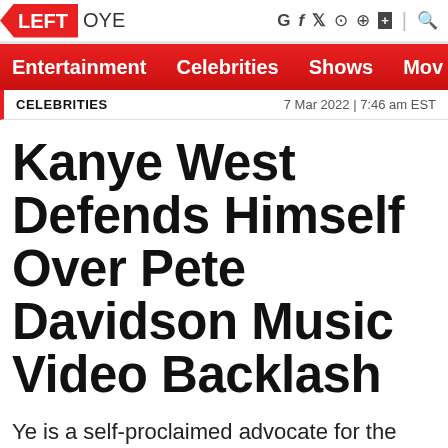LEFT OYE
Entertainment   Celebrities   Shows   Mov
CELEBRITIES   7 Mar 2022 | 7:46 am EST
Kanye West Defends Himself Over Pete Davidson Music Video Backlash
Ye is a self-proclaimed advocate for the freedom of speech and